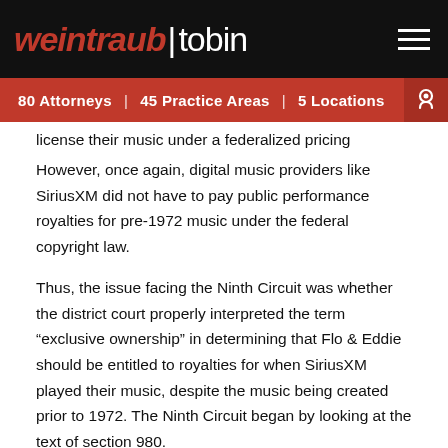weintraub | tobin — 80 Attorneys | 45 Practice Areas | 5 Locations
license their music under a federalized pricing scheme. However, once again, digital music providers like SiriusXM did not have to pay public performance royalties for pre-1972 music under the federal copyright law.
Thus, the issue facing the Ninth Circuit was whether the district court properly interpreted the term “exclusive ownership” in determining that Flo & Eddie should be entitled to royalties for when SiriusXM played their music, despite the music being created prior to 1972. The Ninth Circuit began by looking at the text of section 980.
It noted that the district court had used various dictionary definitions of the words “exclusive” and “ownership” to come to